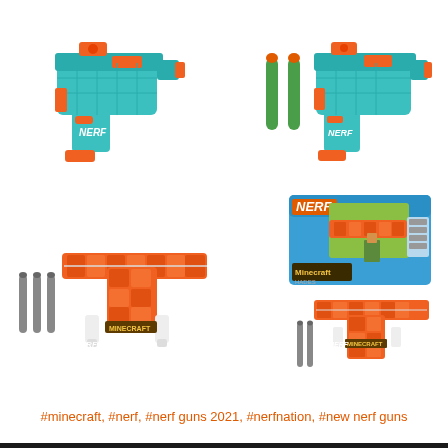[Figure (photo): Four product photos of Nerf Minecraft themed blasters: top-left shows a teal/orange Nerf Minecraft pistol from front, top-right shows same pistol with two green foam darts, bottom-left shows an orange Minecraft-themed Nerf crossbow with three grey darts, bottom-right shows the crossbow product box (NERF Minecraft branding) and another crossbow view]
#minecraft, #nerf, #nerf guns 2021, #nerfnation, #new nerf guns